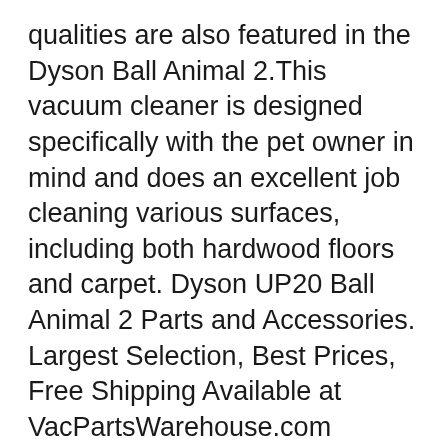qualities are also featured in the Dyson Ball Animal 2.This vacuum cleaner is designed specifically with the pet owner in mind and does an excellent job cleaning various surfaces, including both hardwood floors and carpet. Dyson UP20 Ball Animal 2 Parts and Accessories. Largest Selection, Best Prices, Free Shipping Available at VacPartsWarehouse.com
Dyson Upright Vacuum Cleaner, Ball Animal 2 вЂ" $393.97 (list price $499.99). If you're a pet owner, then the Dyson Upright Vacuum Cleaner, Ball Animal 2 is a must. This is one of Dyson's Dyson DC54 Animal Pro Manuals & User Guides. User Manuals.